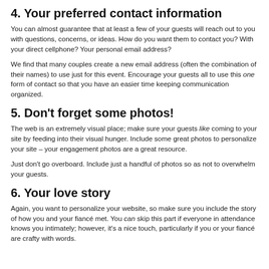4. Your preferred contact information
You can almost guarantee that at least a few of your guests will reach out to you with questions, concerns, or ideas. How do you want them to contact you? With your direct cellphone? Your personal email address?
We find that many couples create a new email address (often the combination of their names) to use just for this event. Encourage your guests all to use this one form of contact so that you have an easier time keeping communication organized.
5. Don't forget some photos!
The web is an extremely visual place; make sure your guests like coming to your site by feeding into their visual hunger. Include some great photos to personalize your site – your engagement photos are a great resource.
Just don't go overboard. Include just a handful of photos so as not to overwhelm your guests.
6. Your love story
Again, you want to personalize your website, so make sure you include the story of how you and your fiancé met. You can skip this part if everyone in attendance knows you intimately; however, it's a nice touch, particularly if you or your fiancé are crafty with words.